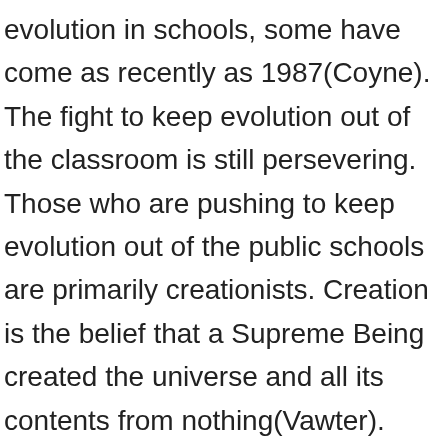evolution in schools, some have come as recently as 1987(Coyne). The fight to keep evolution out of the classroom is still persevering. Those who are pushing to keep evolution out of the public schools are primarily creationists. Creation is the belief that a Supreme Being created the universe and all its contents from nothing(Vawter). Many different people have believed different stories of how and why this was accomplished. Judaism, Christianity and Islam are a few of the major faiths that teach Creation. There are many differences in what different people believe. Many Jews and Christians with a literal interpretation of the Bible or the Pentateuch, the first five books of the Bible, believe that God created the universe and all that